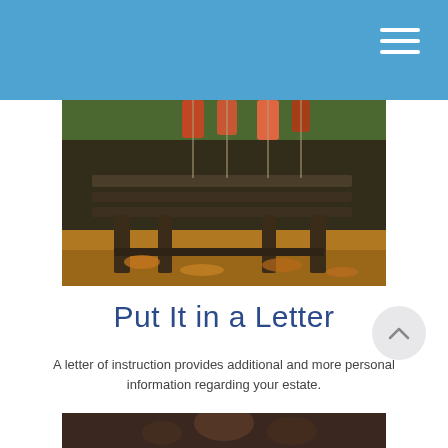[Figure (photo): Outdoor wooden bench surrounded by fallen autumn leaves with colorful items hanging above it, set in a garden or wooded area.]
Put It in a Letter
A letter of instruction provides additional and more personal information regarding your estate.
[Figure (photo): Partial view of a person or object, bottom of page, dark tones.]